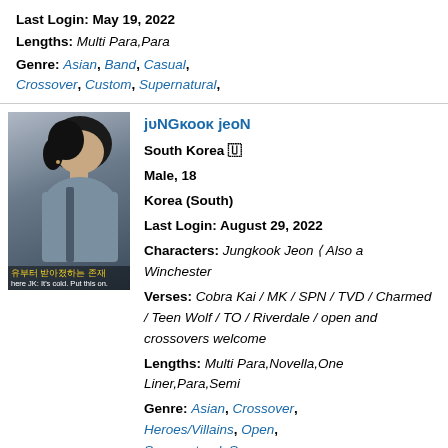Last Login: May 19, 2022
Lengths: Multi Para,Para
Genre: Asian, Band, Casual, Crossover, Custom, Supernatural,
[Figure (photo): Profile photo of a young man with dark hair looking downward, wearing a grey top. Korean text overlay visible at bottom with yellow highlighted text and English caption 'here JK: It's cold. Put this on.']
juNGkook jeoN
South Korea 🇰🇷
Male, 18
Korea (South)
Last Login: August 29, 2022
Characters: Jungkook Jeon ⟨ Also a Winchester
Verses: Cobra Kai / MK / SPN / TVD / Charmed / Teen Wolf / TO / Riverdale / open and crossovers welcome
Lengths: Multi Para,Novella,One Liner,Para,Semi
Genre: Asian, Crossover, Heroes/Villains, Open, Supernatural, Suspense,